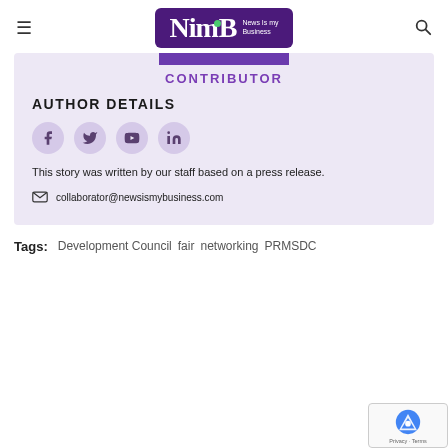[Figure (logo): NimB - News Is my Business logo, purple rounded rectangle background with white text]
CONTRIBUTOR
AUTHOR DETAILS
[Figure (infographic): Four social media icons in circles: Facebook, Twitter, YouTube, LinkedIn]
This story was written by our staff based on a press release.
collaborator@newsismybusiness.com
Tags: Development Council  fair  networking  PRMSDC